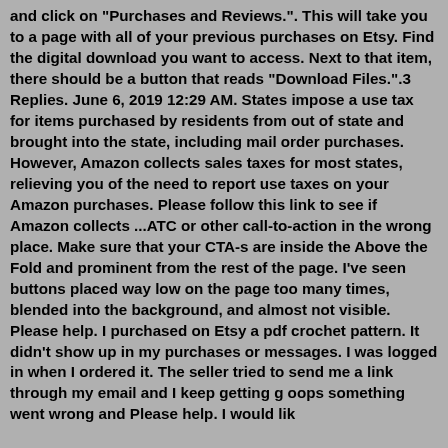and click on "Purchases and Reviews.". This will take you to a page with all of your previous purchases on Etsy. Find the digital download you want to access. Next to that item, there should be a button that reads "Download Files.".3 Replies. June 6, 2019 12:29 AM. States impose a use tax for items purchased by residents from out of state and brought into the state, including mail order purchases. However, Amazon collects sales taxes for most states, relieving you of the need to report use taxes on your Amazon purchases. Please follow this link to see if Amazon collects ...ATC or other call-to-action in the wrong place. Make sure that your CTA-s are inside the Above the Fold and prominent from the rest of the page. I've seen buttons placed way low on the page too many times, blended into the background, and almost not visible. Please help. I purchased on Etsy a pdf crochet pattern. It didn't show up in my purchases or messages. I was logged in when I ordered it. The seller tried to send me a link through my email and I keep getting g oops something went wrong and Please help. I would lik...